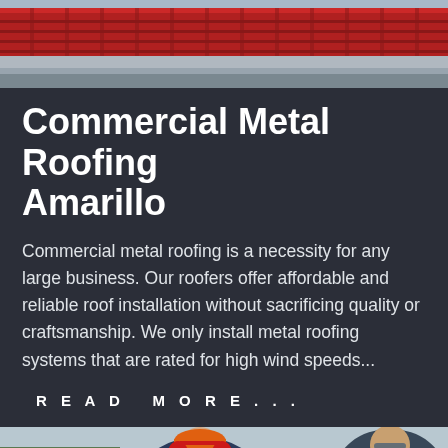[Figure (photo): Top portion of a red metal roof with corrugated panels against a light sky background]
Commercial Metal Roofing Amarillo
Commercial metal roofing is a necessity for any large business. Our roofers offer affordable and reliable roof installation without sacrificing quality or craftsmanship. We only install metal roofing systems that are rated for high wind speeds...
Read More...
[Figure (photo): Two construction workers / roofers, one wearing an orange hard hat and red ear protection, working on a roofing project outdoors]